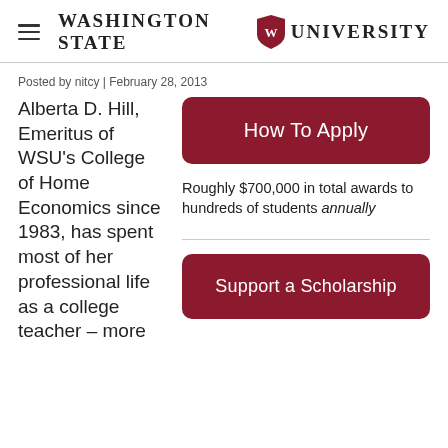Washington State University
Posted by nitcy | February 28, 2013
Alberta D. Hill, Emeritus of WSU’s College of Home Economics since 1983, has spent most of her professional life as a college teacher – more
[Figure (other): Dark red button labeled 'How To Apply']
Roughly $700,000 in total awards to hundreds of students annually
[Figure (other): Dark red button labeled 'Support a Scholarship']